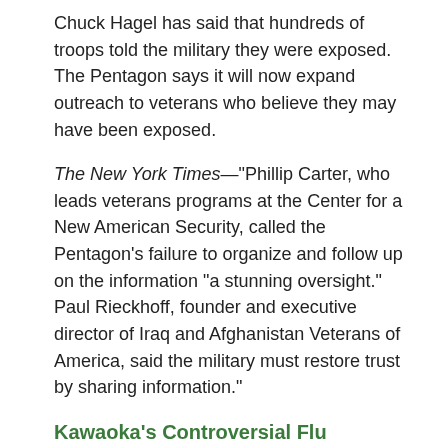Chuck Hagel has said that hundreds of troops told the military they were exposed. The Pentagon says it will now expand outreach to veterans who believe they may have been exposed.
The New York Times—"Phillip Carter, who leads veterans programs at the Center for a New American Security, called the Pentagon's failure to organize and follow up on the information "a stunning oversight." Paul Rieckhoff, founder and executive director of Iraq and Afghanistan Veterans of America, said the military must restore trust by sharing information."
Kawaoka's Controversial Flu Research at UW-Madison On Hold Again
Once again, Yoshihiro Kawaoka has halted his research of H5N1 at the University of Wisconsin-